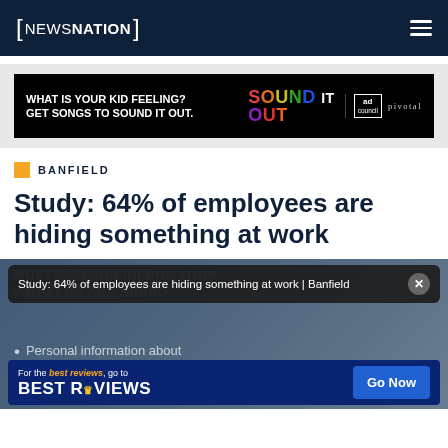NewsNation
[Figure (other): Advertisement banner: 'What is your kid feeling? Get songs to sound it out.' with Sound It Out and Ad Council / Pivotal branding on black background]
BANFIELD
Study: 64% of employees are hiding something at work
[Figure (screenshot): Partially visible infographic with 'Most Common Information Workers Are Hiding' text overlay, notification popup reading 'Study: 64% of employees are hiding something at work | Banfield', and BestReviews advertisement at bottom]
Personal information about